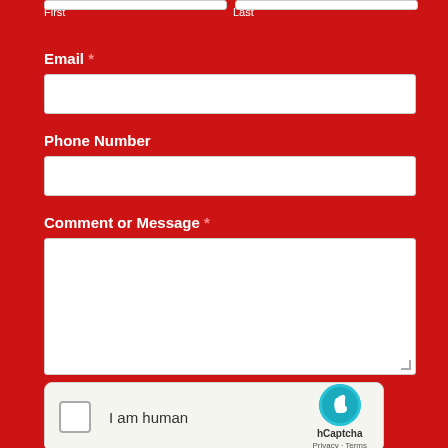First    Last
Email *
Phone Number
Comment or Message *
[Figure (other): hCaptcha widget with checkbox labeled 'I am human', hCaptcha logo, and Privacy/Terms links]